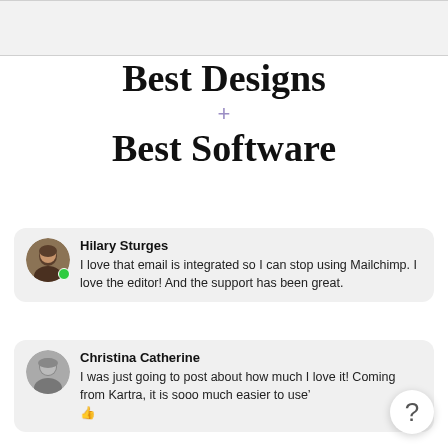Best Designs + Best Software
Hilary Sturges
I love that email is integrated so I can stop using Mailchimp. I love the editor! And the support has been great.
Christina Catherine
I was just going to post about how much I love it! Coming from Kartra, it is sooo much easier to use 👍